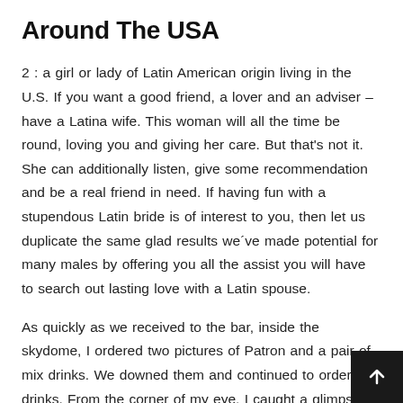Around The USA
2 : a girl or lady of Latin American origin living in the U.S. If you want a good friend, a lover and an adviser – have a Latina wife. This woman will all the time be round, loving you and giving her care. But that's not it. She can additionally listen, give some recommendation and be a real friend in need. If having fun with a stupendous Latin bride is of interest to you, then let us duplicate the same glad results we´ve made potential for many males by offering you all the assist you will have to search out lasting love with a Latin spouse.
As quickly as we received to the bar, inside the skydome, I ordered two pictures of Patron and a pair of mix drinks. We downed them and continued to order drinks. From the corner of my eye, I caught a glimpse of Jamal, he checked beau hispanic girls out me and smile. He came visiting and